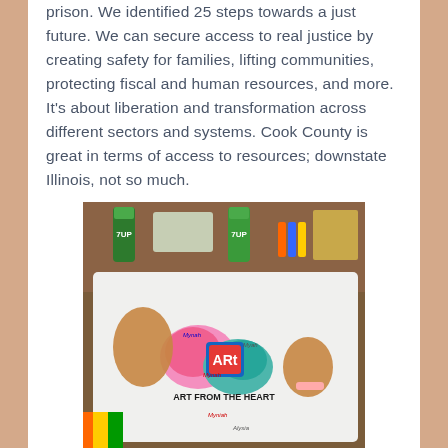prison. We identified 25 steps towards a just future. We can secure access to real justice by creating safety for families, lifting communities, protecting fiscal and human resources, and more. It's about liberation and transformation across different sectors and systems. Cook County is great in terms of access to resources; downstate Illinois, not so much.
[Figure (photo): A person holding a white t-shirt with a colorful hand-drawn design reading 'ART FROM THE HEART', with signatures written on it. In the background are art supplies, markers, and cans of 7UP on a table.]